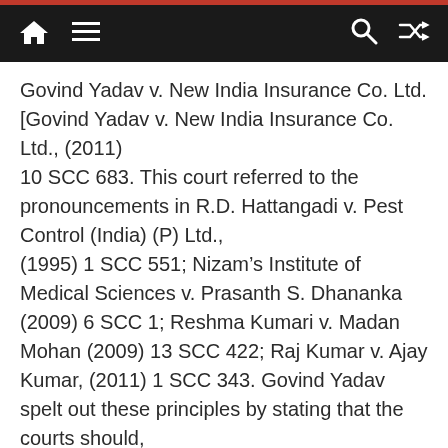Navigation bar with home, menu, search, and shuffle icons
Govind Yadav v. New India Insurance Co. Ltd. [Govind Yadav v. New India Insurance Co. Ltd., (2011) 10 SCC 683. This court referred to the pronouncements in R.D. Hattangadi v. Pest Control (India) (P) Ltd., (1995) 1 SCC 551; Nizam’s Institute of Medical Sciences v. Prasanth S. Dhananka (2009) 6 SCC 1; Reshma Kumari v. Madan Mohan (2009) 13 SCC 422; Raj Kumar v. Ajay Kumar, (2011) 1 SCC 343. Govind Yadav spelt out these principles by stating that the courts should, “in determining the quantum of compensation payable to the victims of accident, who are disabled either permanently or temporarily. If the victim of the accident suffers permanent